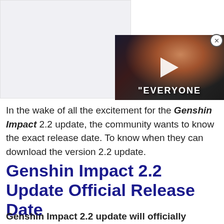[Figure (screenshot): Gray advertisement placeholder box on the left with a video player overlay on the right showing a dark image of a person's face with a play button and 'EVERYONE' text at the bottom, and a close (X) button in the top-right corner.]
In the wake of all the excitement for the Genshin Impact 2.2 update, the community wants to know the exact release date. To know when they can download the version 2.2 update.
Genshin Impact 2.2 Update Official Release Date
Genshin Impact 2.2 update will officially